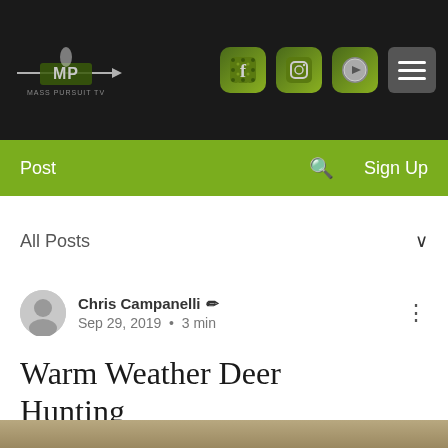[Figure (screenshot): Website header with dark background showing the Mass Pursuit TV logo on the left and social media icons (Facebook, Instagram, YouTube) plus a hamburger menu on the right]
Post   Sign Up
All Posts
Chris Campanelli  Sep 29, 2019 • 3 min
Warm Weather Deer Hunting